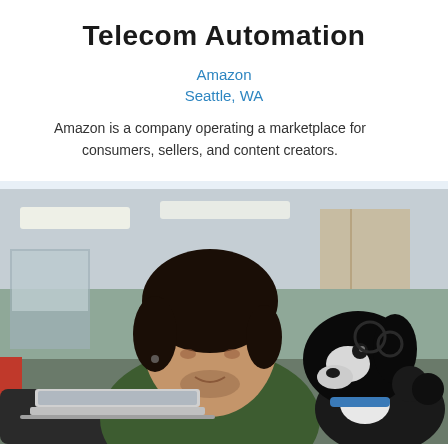Telecom Automation
Amazon
Seattle, WA
Amazon is a company operating a marketplace for consumers, sellers, and content creators.
[Figure (photo): A man in a dark green sweater sitting at a laptop, looking at a black and white dog beside him in an office setting.]